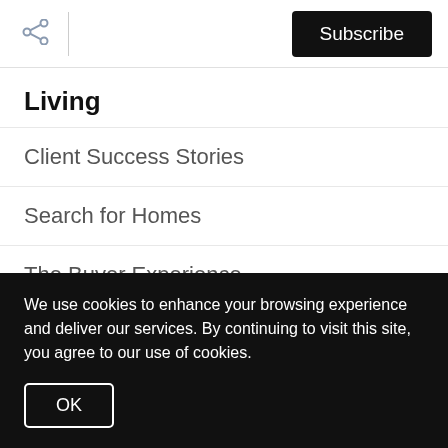Subscribe
Living
Client Success Stories
Search for Homes
The Buyer Experience
Schedule a Call
Get Your Home's Value
Blog
We use cookies to enhance your browsing experience and deliver our services. By continuing to visit this site, you agree to our use of cookies.
OK